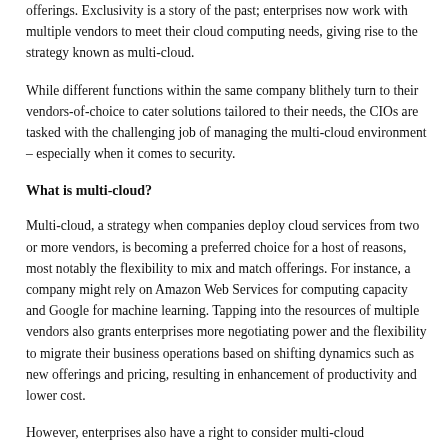offerings. Exclusivity is a story of the past; enterprises now work with multiple vendors to meet their cloud computing needs, giving rise to the strategy known as multi-cloud.
While different functions within the same company blithely turn to their vendors-of-choice to cater solutions tailored to their needs, the CIOs are tasked with the challenging job of managing the multi-cloud environment – especially when it comes to security.
What is multi-cloud?
Multi-cloud, a strategy when companies deploy cloud services from two or more vendors, is becoming a preferred choice for a host of reasons, most notably the flexibility to mix and match offerings. For instance, a company might rely on Amazon Web Services for computing capacity and Google for machine learning. Tapping into the resources of multiple vendors also grants enterprises more negotiating power and the flexibility to migrate their business operations based on shifting dynamics such as new offerings and pricing, resulting in enhancement of productivity and lower cost.
However, enterprises also have a right to consider multi-cloud...